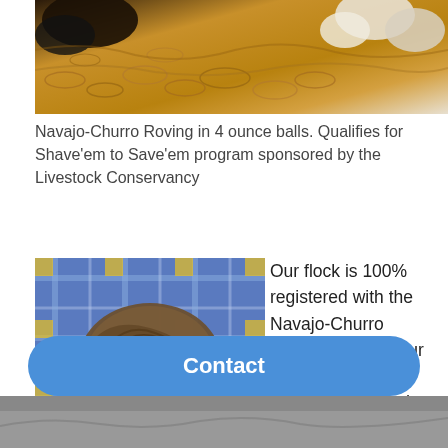[Figure (photo): Close-up photo of Navajo-Churro wool/roving in multiple natural colors (black, tan, white) showing the curly texture of the fleece]
Navajo-Churro Roving in 4 ounce balls. Qualifies for Shave’em to Save’em program sponsored by the Livestock Conservancy
[Figure (photo): Photo of a skein of brown/grey handspun Navajo-Churro yarn on a blue plaid fabric background]
Our flock is 100% registered with the Navajo-Churro Association and our focus has been primarily on breed conservation. All of
[Figure (screenshot): Blue rounded Contact button overlay at bottom of page]
[Figure (photo): Partial image visible at very bottom of page, appears to be another sheep or livestock photo]